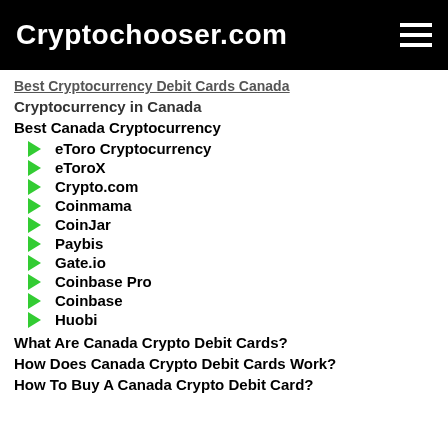Cryptochooser.com
Best Cryptocurrency Debit Cards Canada
Cryptocurrency in Canada
Best Canada Cryptocurrency
eToro Cryptocurrency
eToroX
Crypto.com
Coinmama
CoinJar
Paybis
Gate.io
Coinbase Pro
Coinbase
Huobi
What Are Canada Crypto Debit Cards?
How Does Canada Crypto Debit Cards Work?
How To Buy A Canada Crypto Debit Card?